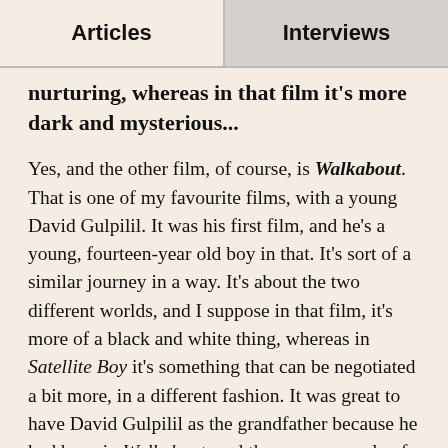Articles | Interviews
nurturing, whereas in that film it's more dark and mysterious...
Yes, and the other film, of course, is Walkabout. That is one of my favourite films, with a young David Gulpilil. It was his first film, and he's a young, fourteen-year old boy in that. It's sort of a similar journey in a way. It's about the two different worlds, and I suppose in that film, it's more of a black and white thing, whereas in Satellite Boy it's something that can be negotiated a bit more, in a different fashion. It was great to have David Gulpilil as the grandfather because he had been in Walkabout, and there are a couple of shots in Satellite Boy that are a direct homage to Walkabout. For example, when they walk from the dirt to the black bitumen. That was pretty cool